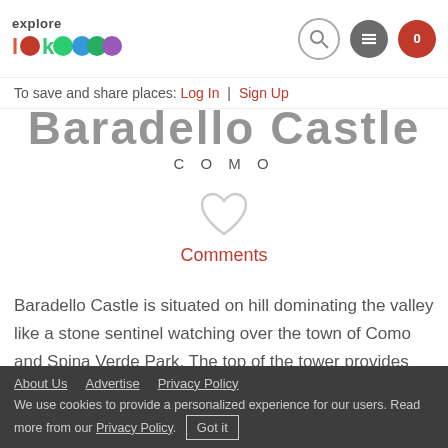explore lake como — navigation header with search, menu and favorites icons
To save and share places: Log In | Sign Up
Baradello Castle
COMO
Comments
Baradello Castle is situated on hill dominating the valley like a stone sentinel watching over the town of Como and Spina Verde Park. The top of the tower provides 360 degree views of the city, the Alps and Po Valley. The fortification was used until its demolition, ordered in
About Us   Advertise   Privacy Policy   We use cookies to provide a personalized experience for our users. Read more from our Privacy Policy.   Got it